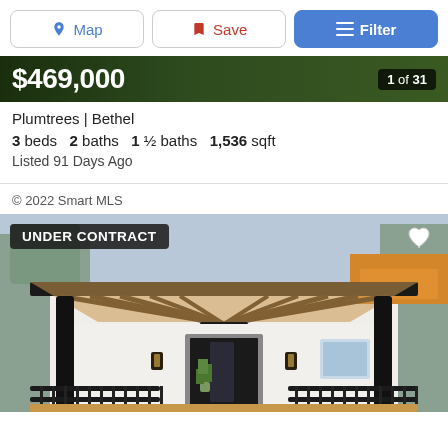Map | Save | Filter
$469,000 — 1 of 31
Plumtrees | Bethel
3 beds  2 baths  1 ½ baths  1,536 sqft
Listed 91 Days Ago
© 2022 Smart MLS
[Figure (photo): Front exterior of a modern house with a covered pergola porch, dark structural beams, horizontal railing, black front door with glass insert, white siding, lantern lights, and a potted plant. 'UNDER CONTRACT' badge overlay in top left.]